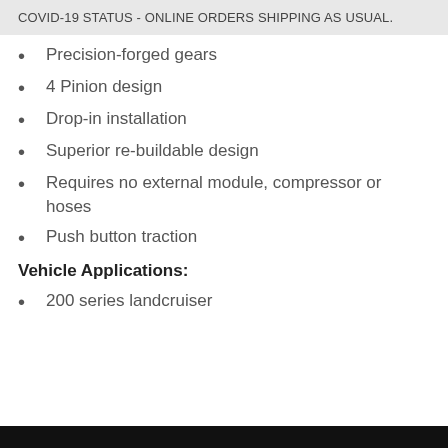COVID-19 STATUS - ONLINE ORDERS SHIPPING AS USUAL.
Precision-forged gears
4 Pinion design
Drop-in installation
Superior re-buildable design
Requires no external module, compressor or hoses
Push button traction
Vehicle Applications:
200 series landcruiser